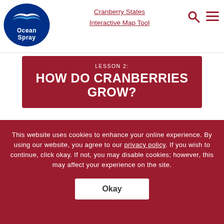[Figure (logo): Ocean Spray circular logo with blue wave design and white text]
Cranberry States
Interactive Map Tool
LESSON 2:
HOW DO CRANBERRIES GROW?
This website uses cookies to enhance your online experience. By using our website, you agree to our privacy policy. If you wish to continue, click okay. If not, you may disable cookies; however, this may affect your experience on the site.
Okay